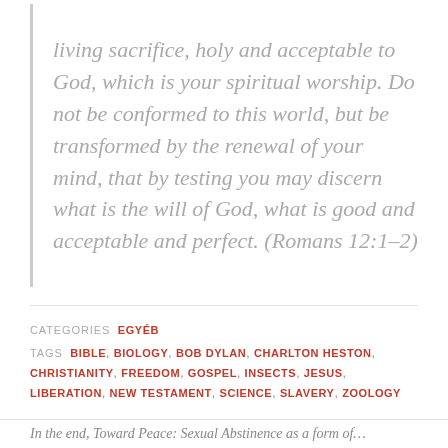living sacrifice, holy and acceptable to God, which is your spiritual worship. Do not be conformed to this world, but be transformed by the renewal of your mind, that by testing you may discern what is the will of God, what is good and acceptable and perfect. (Romans 12:1–2)
CATEGORIES EGYÉB
TAGS BIBLE, BIOLOGY, BOB DYLAN, CHARLTON HESTON, CHRISTIANITY, FREEDOM, GOSPEL, INSECTS, JESUS, LIBERATION, NEW TESTAMENT, SCIENCE, SLAVERY, ZOOLOGY
In the end, Toward Peace: Sexual Abstinence as a form of...